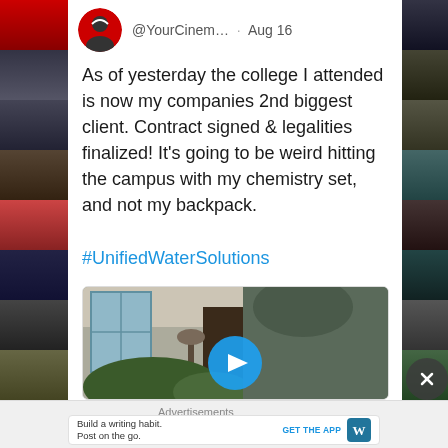[Figure (screenshot): Left sidebar with movie poster thumbnails in dark background]
@YourCinem… · Aug 16
As of yesterday the college I attended is now my companies 2nd biggest client. Contract signed & legalities finalized! It's going to be weird hitting the campus with my chemistry set, and not my backpack.
#UnifiedWaterSolutions
[Figure (screenshot): Video thumbnail showing a man outside a house with a blue play button overlay]
Advertisements
Build a writing habit. Post on the go. GET THE APP